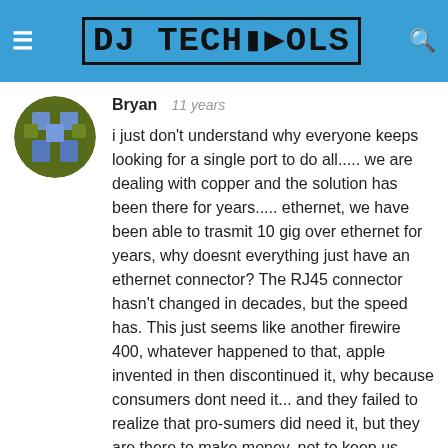DJ TECHTOOLS
Bryan   11 years
i just don't understand why everyone keeps looking for a single port to do all..... we are dealing with copper and the solution has been there for years..... ethernet, we have been able to trasmit 10 gig over ethernet for years, why doesnt everything just have an ethernet connector? The RJ45 connector hasn't changed in decades, but the speed has. This just seems like another firewire 400, whatever happened to that, apple invented in then discontinued it, why because consumers dont need it... and they failed to realize that pro-sumers did need it, but they are there to make money, not to keep us happy.... i love apple and am a die hard power user of their products, but sometime they just piss me off.... usb 3, thunder bolt, whats next, usb 4 and lightning bolt, sounds like marketing shit to me and not a true innovative answers to the